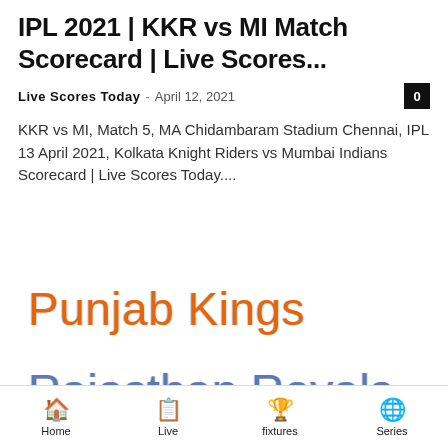IPL 2021 | KKR vs MI Match Scorecard | Live Scores...
Live Scores Today – April 12, 2021  0
KKR vs MI, Match 5, MA Chidambaram Stadium Chennai, IPL 13 April 2021, Kolkata Knight Riders vs Mumbai Indians Scorecard | Live Scores Today....
[Figure (other): Punjab Kings team logo text in orange with slight blue fringe effect]
[Figure (other): Rajasthan Royals team logo text in blue with slight color fringe effect]
Home | Live | fixtures | Series